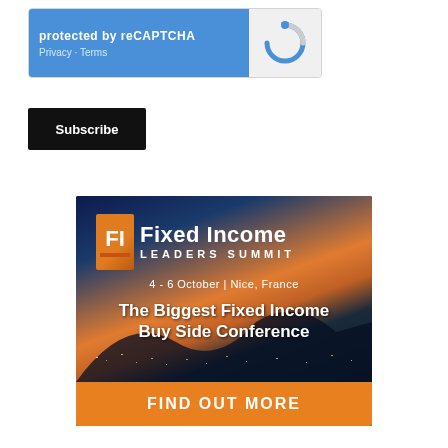[Figure (screenshot): reCAPTCHA widget with blue left panel showing 'protected by reCAPTCHA' and Privacy/Terms links, grey right panel with reCAPTCHA spinner logo]
Subscribe
[Figure (illustration): Fixed Income Leaders Summit advertisement banner. Shows FI logo in orange box, 'Fixed Income LEADERS SUMMIT' title, '4 - 6 October | Nice, France' date, 'The Biggest Fixed Income Buy Side Conference' tagline over night city skyline, and 'FIND OUT MORE' orange call-to-action button]